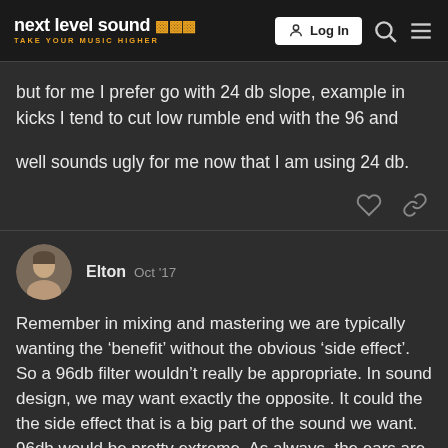next level sound — TAKE YOUR MUSIC HIGHER | Log In
but for me I prefer go with 24 db slope, example in kicks I tend to cut low rumble end with the 96 and

well sounds ugly for me now that I am using 24 db.
Elton  Oct '17
Remember in mixing and mastering we are typically wanting the 'benefit' without the obvious 'side effect'. So a 96db filter wouldn't really be appropriate. In sound design, we may want exactly the opposite. It could the the side effect that is a big part of the sound we want. 96db would be pretty extreme. As always, the ears are the final judge and everything else is a guide. That said